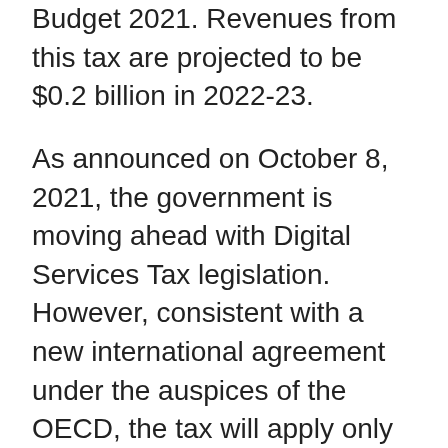Budget 2021. Revenues from this tax are projected to be $0.2 billion in 2022-23.
As announced on October 8, 2021, the government is moving ahead with Digital Services Tax legislation. However, consistent with a new international agreement under the auspices of the OECD, the tax will apply only as of 2024, and only if the treaty implementing the new multilateral tax regime (Pillar 1 tax) has not come into force. Given Canada's strong preference for a multilateral approach and in light of the remaining uncertainties around the final design of Pillar 1 tax,